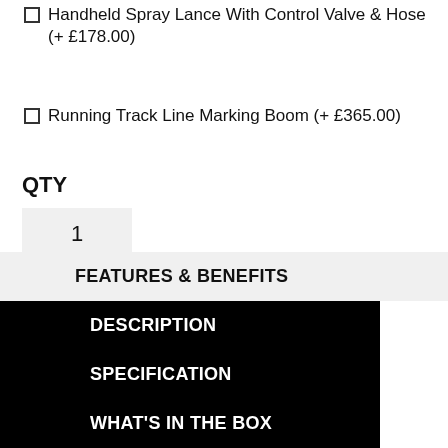☐ Handheld Spray Lance With Control Valve & Hose (+ £178.00)
☐ Running Track Line Marking Boom (+ £365.00)
QTY
1
ADD TO BASKET
FEATURES & BENEFITS
DESCRIPTION
SPECIFICATION
WHAT'S IN THE BOX